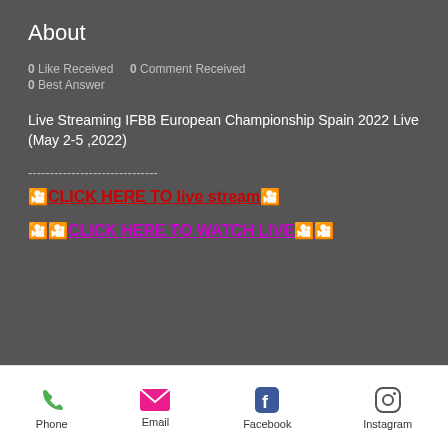About
0 Like Received   0 Comment Received
0 Best Answer
Live Streaming IFBB European Championship Spain 2022 Live (May 2-5 ,2022)
------------------------------
🎦CLICK HERE TO live stream🎦
🎦🎦CLICK HERE TO WATCH LIVE🎦🎦
Phone   Email   Facebook   Instagram